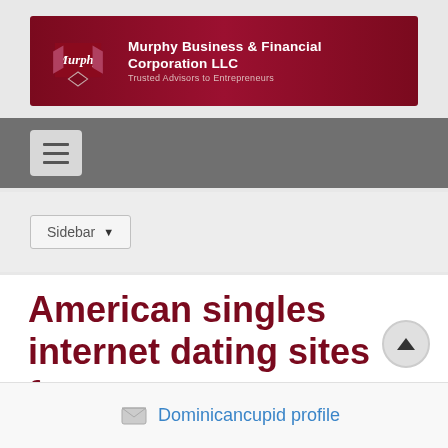[Figure (logo): Murphy Business & Financial Corporation LLC header banner with logo and tagline 'Trusted Advisors to Entrepreneurs' on dark red background]
[Figure (screenshot): Navigation bar with hamburger menu button on grey background]
[Figure (screenshot): Sidebar dropdown button on light grey background]
American singles internet dating sites free usa
Dominicancupid profile